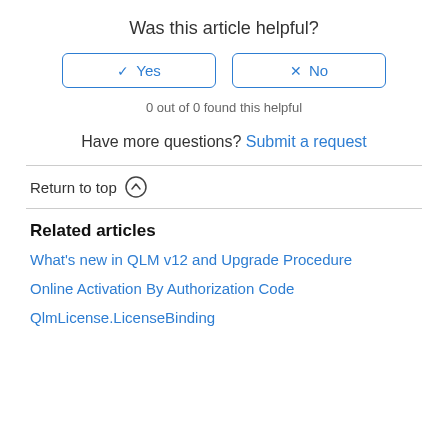Was this article helpful?
[Figure (other): Two buttons: checkmark Yes and X No, styled with blue border]
0 out of 0 found this helpful
Have more questions? Submit a request
Return to top ↑
Related articles
What's new in QLM v12 and Upgrade Procedure
Online Activation By Authorization Code
QlmLicense.LicenseBinding